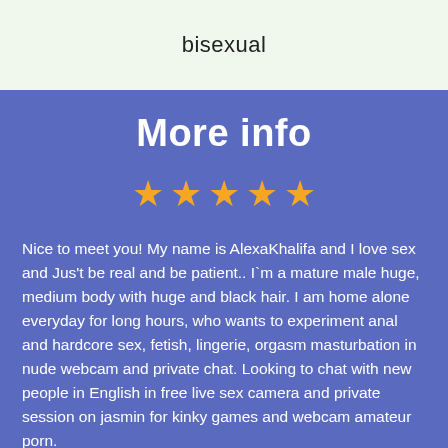bisexual
More info
[Figure (other): Five gold star rating icons]
Nice to meet you! My name is AlexaKhalifa and I love sex and Jus't be real and be patient.. I`m a mature male huge, medium body with huge and black hair. I am home alone everyday for long hours, who wants to experiment anal and hardcore sex, fetish, lingerie, orgasm masturbation in nude webcam and private chat. Looking to chat with new people in English in free live sex camera and private session on jasmin for kinky games and webcam amateur porn.